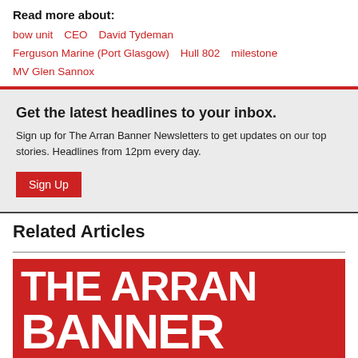Read more about:
bow unit   CEO   David Tydeman
Ferguson Marine (Port Glasgow)   Hull 802   milestone
MV Glen Sannox
Get the latest headlines to your inbox.
Sign up for The Arran Banner Newsletters to get updates on our top stories. Headlines from 12pm every day.
Sign Up
Related Articles
[Figure (logo): The Arran Banner logo — red background with white bold text 'THE ARRAN' on top and 'BANNER' below in very large letters]